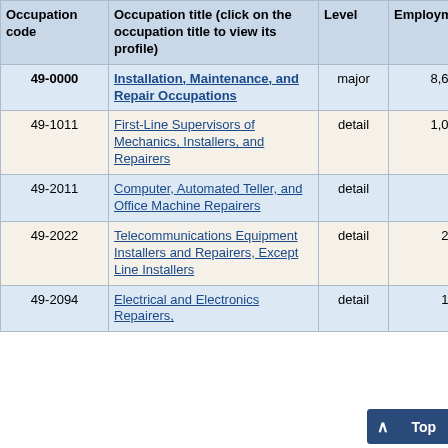| Occupation code | Occupation title (click on the occupation title to view its profile) | Level | Employment | Employment RSE |
| --- | --- | --- | --- | --- |
| 49-0000 | Installation, Maintenance, and Repair Occupations | major | 8,650 | 1 |
| 49-1011 | First-Line Supervisors of Mechanics, Installers, and Repairers | detail | 1,030 | 3 |
| 49-2011 | Computer, Automated Teller, and Office Machine Repairers | detail | 60 | 18 |
| 49-2022 | Telecommunications Equipment Installers and Repairers, Except Line Installers | detail | 280 | 10 |
| 49-2094 | Electrical and Electronics Repairers, | detail | 150 | 5 |